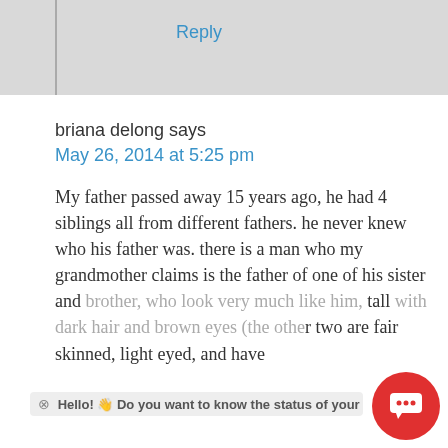Reply
briana delong says
May 26, 2014 at 5:25 pm
My father passed away 15 years ago, he had 4 siblings all from different fathers. he never knew who his father was. there is a man who my grandmother claims is the father of one of his sister and brother, who look very much like him, tall with dark hair and brown eyes (the other two are fair skinned, light eyed, and have